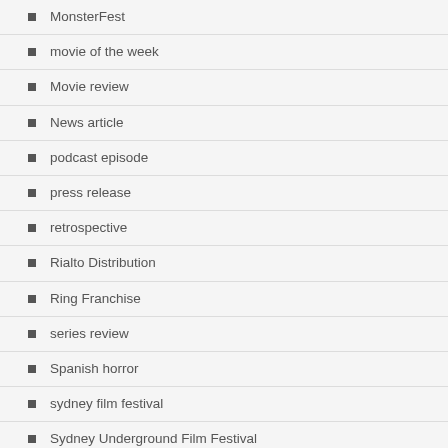MonsterFest
movie of the week
Movie review
News article
podcast episode
press release
retrospective
Rialto Distribution
Ring Franchise
series review
Spanish horror
sydney film festival
Sydney Underground Film Festival
The Blair Witch Franchise
The Exorcist